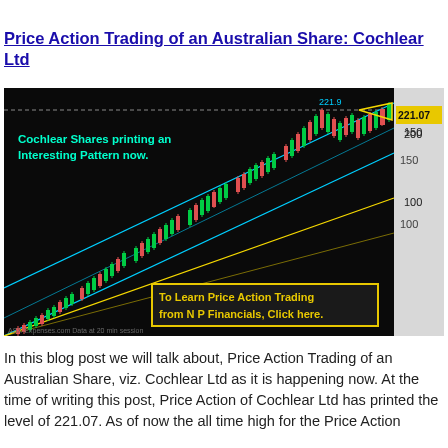Price Action Trading of an Australian Share: Cochlear Ltd
[Figure (screenshot): A candlestick chart of Cochlear Ltd shares showing an upward trending price channel with cyan channel lines and yellow median line. Green and red candlesticks rising from bottom-left to top-right. Price label shows 221.07 in a yellow box on the right. Y-axis shows levels 100, 150, 200, 221.07. Text overlay: 'Cochlear Shares printing an Interesting Pattern now.' A yellow box at bottom reads 'To Learn Price Action Trading from N P Financials, Click here.' A dotted horizontal line near top with annotation '221.9'.]
In this blog post we will talk about, Price Action Trading of an Australian Share, viz. Cochlear Ltd as it is happening now. At the time of writing this post, Price Action of Cochlear Ltd has printed the level of 221.07. As of now the all time high for the Price Action